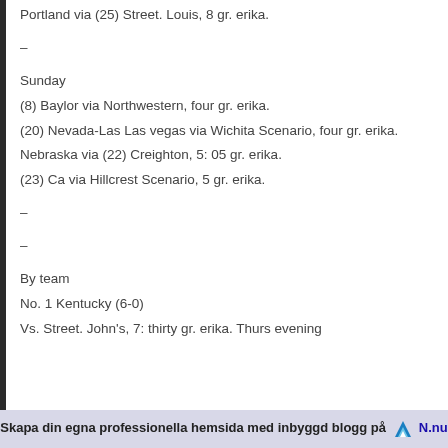Portland via (25) Street. Louis, 8 gr. erika.
–
Sunday
(8) Baylor via Northwestern, four gr. erika.
(20) Nevada-Las Las vegas via Wichita Scenario, four gr. erika.
Nebraska via (22) Creighton, 5: 05 gr. erika.
(23) Ca via Hillcrest Scenario, 5 gr. erika.
–
–
By team
No. 1 Kentucky (6-0)
Vs. Street. John's, 7: thirty gr. erika. Thurs evening
Skapa din egna professionella hemsida med inbyggd blogg på N.nu